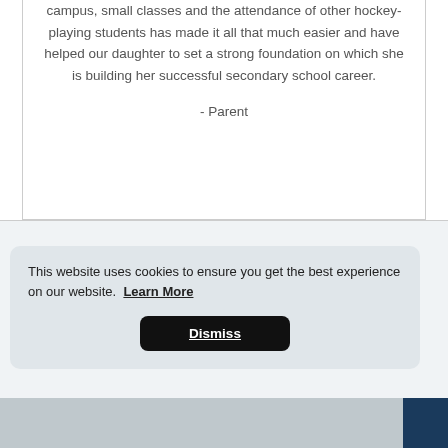campus, small classes and the attendance of other hockey-playing students has made it all that much easier and have helped our daughter to set a strong foundation on which she is building her successful secondary school career.
- Parent
This website uses cookies to ensure you get the best experience on our website. Learn More
Dismiss
[Figure (photo): Partial view of a photo strip showing people, with a blue panel on the right edge]